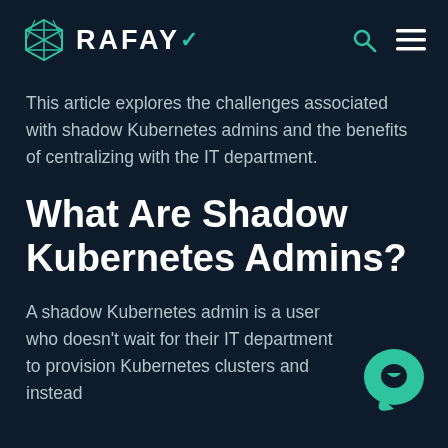RAFAY
This article explores the challenges associated with shadow Kubernetes admins and the benefits of centralizing with the IT department.
What Are Shadow Kubernetes Admins?
A shadow Kubernetes admin is a user who doesn't wait for their IT department to provision Kubernetes clusters and instead